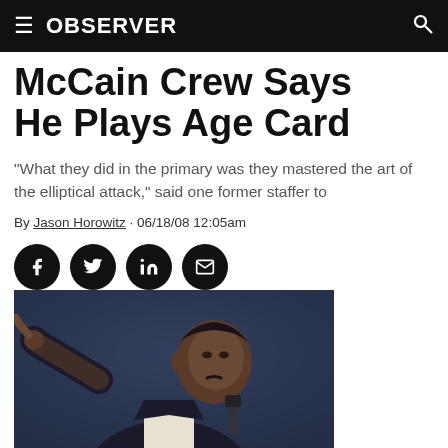OBSERVER
McCain Crew Says He Plays Age Card
“What they did in the primary was they mastered the art of the elliptical attack,” said one former staffer to
By Jason Horowitz · 06/18/08 12:05am
[Figure (photo): Photo of Barack Obama pointing at the camera, wearing a dark suit, speaking at a podium with a microphone]